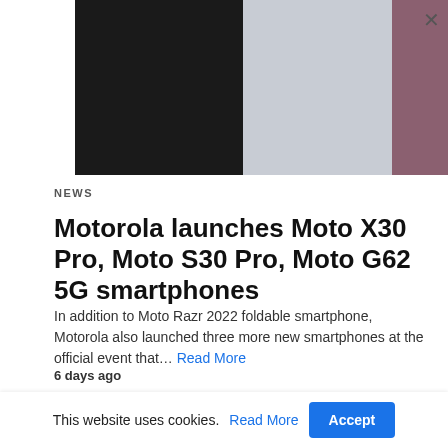[Figure (photo): Partial view of smartphones against a gradient background — dark black on left, light grey in center, dark reddish-brown on right. An X close button is visible in the top right corner.]
NEWS
Motorola launches Moto X30 Pro, Moto S30 Pro, Moto G62 5G smartphones
In addition to Moto Razr 2022 foldable smartphone, Motorola also launched three more new smartphones at the official event that… Read More
6 days ago
This website uses cookies. Read More Accept